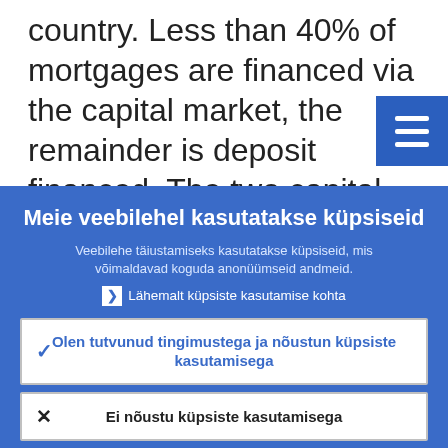country. Less than 40% of mortgages are financed via the capital market, the remainder is deposit financed. The two capital market instruments to fund
[Figure (other): Hamburger menu icon button (three horizontal lines) on blue background in top-right corner]
Meie veebilehel kasutatakse küpsiseid
Veebilehe täiustamiseks kasutatakse küpsiseid, mis võimaldavad koguda anonüümseid andmeid.
▸  Lähemalt küpsiste kasutamise kohta
✓  Olen tutvunud tingimustega ja nõustun küpsiste kasutamisega
✗  Ei nõustu küpsiste kasutamisega